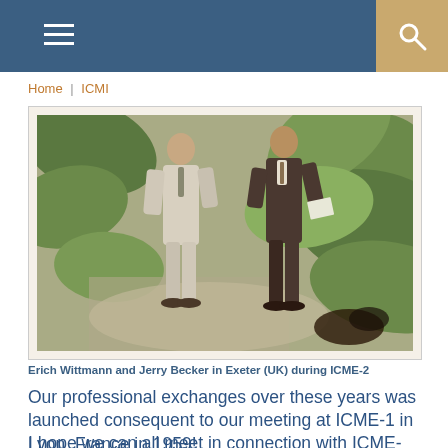Home | ICMI
[Figure (photo): Two men standing outdoors in front of large leafy plants. The man on the left wears a light-colored suit, the man on the right wears a dark suit and holds papers. The photo appears to be from the early 1970s.]
Erich Wittmann and Jerry Becker in Exeter (UK) during ICME-2
Our professional exchanges over these years was launched consequent to our meeting at ICME-1 in Lyon, France in 1959!
I hope we can all meet in connection with ICME-